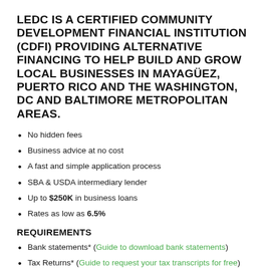LEDC IS A CERTIFIED COMMUNITY DEVELOPMENT FINANCIAL INSTITUTION (CDFI) PROVIDING ALTERNATIVE FINANCING TO HELP BUILD AND GROW LOCAL BUSINESSES IN MAYAGÜEZ, PUERTO RICO AND THE WASHINGTON, DC AND BALTIMORE METROPOLITAN AREAS.
No hidden fees
Business advice at no cost
A fast and simple application process
SBA & USDA intermediary lender
Up to $250K in business loans
Rates as low as 6.5%
REQUIREMENTS
Bank statements* (Guide to download bank statements)
Tax Returns* (Guide to request your tax transcripts for free)